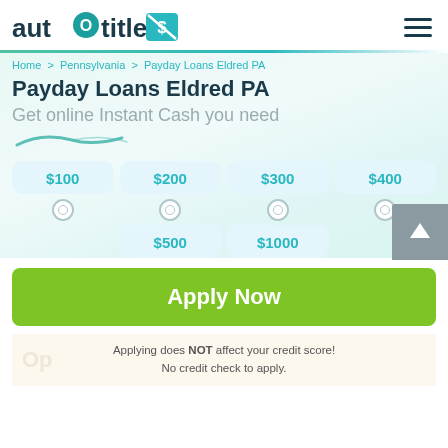[Figure (logo): autoOtitle logo with teal circle O and blue-green arrow icon]
Home > Pennsylvania > Payday Loans Eldred PA
Payday Loans Eldred PA
Get online Instant Cash you need
$100 $200 $300 $400
$500 $1000
Apply Now
Applying does NOT affect your credit score! No credit check to apply.